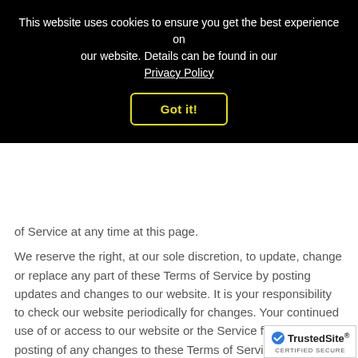This website uses cookies to ensure you get the best experience on our website. Details can be found in our Privacy Policy
Got it!
of Service at any time at this page.
We reserve the right, at our sole discretion, to update, change or replace any part of these Terms of Service by posting updates and changes to our website. It is your responsibility to check our website periodically for changes. Your continued use of or access to our website or the Service following the posting of any changes to these Terms of Service constitutes acceptance of those changes.
SECTION 20 - CONTACT INFORMATION
[Figure (logo): TrustedSite CERTIFIED SECURE badge]